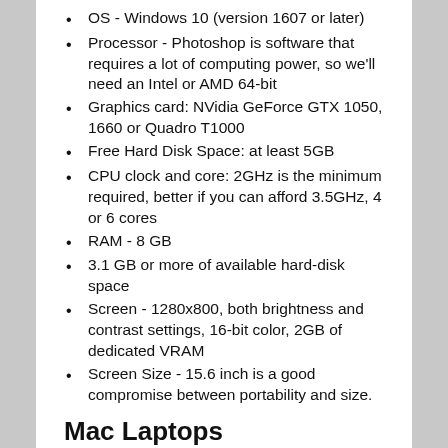OS - Windows 10 (version 1607 or later)
Processor - Photoshop is software that requires a lot of computing power, so we'll need an Intel or AMD 64-bit
Graphics card: NVidia GeForce GTX 1050, 1660 or Quadro T1000
Free Hard Disk Space: at least 5GB
CPU clock and core: 2GHz is the minimum required, better if you can afford 3.5GHz, 4 or 6 cores
RAM - 8 GB
3.1 GB or more of available hard-disk space
Screen - 1280x800, both brightness and contrast settings, 16-bit color, 2GB of dedicated VRAM
Screen Size - 15.6 inch is a good compromise between portability and size.
Mac Laptops